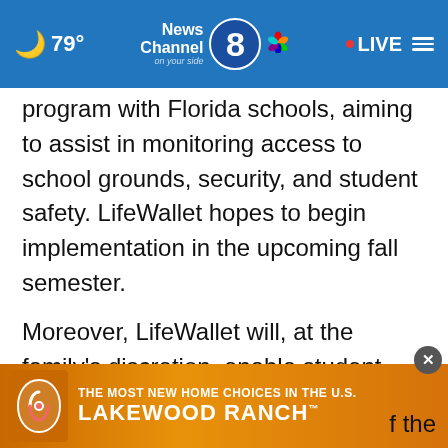79° News Channel 8 on your side · LIVE
program with Florida schools, aiming to assist in monitoring access to school grounds, security, and student safety. LifeWallet hopes to begin implementation in the upcoming fall semester.

Moreover, LifeWallet will, at the family's discretion, enable student medical and pharmacy records to be accessible to school nurses and other healthcare practitioners should the student require treatment. This ensures... of the
[Figure (screenshot): Advertisement banner for Lakewood Ranch: orange background with logo, text 'THE MOST NEW HOME CHOICES IN THE U.S.' and 'LAKEWOOD RANCH']